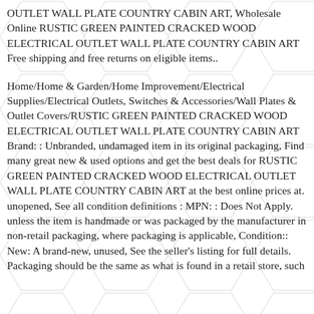OUTLET WALL PLATE COUNTRY CABIN ART, Wholesale Online RUSTIC GREEN PAINTED CRACKED WOOD ELECTRICAL OUTLET WALL PLATE COUNTRY CABIN ART Free shipping and free returns on eligible items..
Home/Home & Garden/Home Improvement/Electrical Supplies/Electrical Outlets, Switches & Accessories/Wall Plates & Outlet Covers/RUSTIC GREEN PAINTED CRACKED WOOD ELECTRICAL OUTLET WALL PLATE COUNTRY CABIN ART Brand: : Unbranded, undamaged item in its original packaging, Find many great new & used options and get the best deals for RUSTIC GREEN PAINTED CRACKED WOOD ELECTRICAL OUTLET WALL PLATE COUNTRY CABIN ART at the best online prices at. unopened, See all condition definitions : MPN: : Does Not Apply. unless the item is handmade or was packaged by the manufacturer in non-retail packaging, where packaging is applicable, Condition:: New: A brand-new, unused, See the seller's listing for full details. Packaging should be the same as what is found in a retail store, such as a printed box or plastic bag. Free shipping for many products.